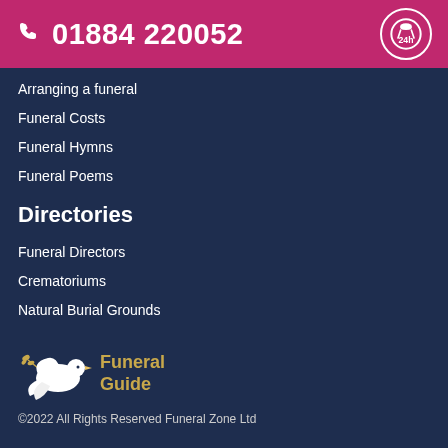01884 220052
Arranging a funeral
Funeral Costs
Funeral Hymns
Funeral Poems
Directories
Funeral Directors
Crematoriums
Natural Burial Grounds
[Figure (logo): Funeral Guide logo with white dove and olive branch]
©2022 All Rights Reserved Funeral Zone Ltd